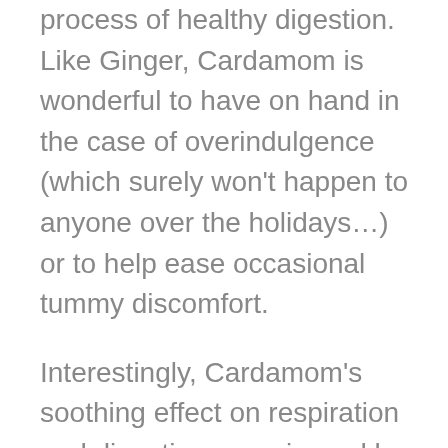process of healthy digestion. Like Ginger, Cardamom is wonderful to have on hand in the case of overindulgence (which surely won't happen to anyone over the holidays…) or to help ease occasional tummy discomfort.
Interestingly, Cardamom's soothing effect on respiration and digestion are mirrored by its soothing effect on the emotions. With the body and mind so intricately wired, it comes as no surprise that inhaling the spicy, fruity aroma of Cardamom can clear the mind and sharpen our thinking. To create an inviting atmosphere in your living space that is both soothing and grounding, diffuse warm Cardamom with woody